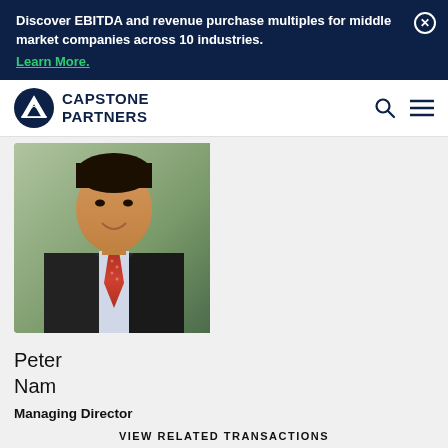Discover EBITDA and revenue purchase multiples for middle market companies across 10 industries. Learn More.
[Figure (logo): Capstone Partners logo — mountain peak icon with CAPSTONE PARTNERS text]
[Figure (photo): Professional headshot of Peter Nam in a dark suit with red tie]
Peter Nam
Managing Director
Head of Industrial Technology
VIEW RELATED TRANSACTIONS